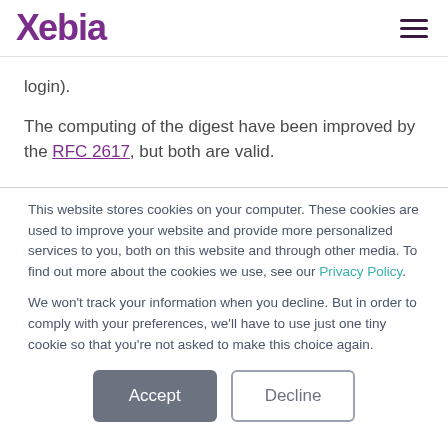Xebia
login).
The computing of the digest have been improved by the RFC 2617, but both are valid.
This website stores cookies on your computer. These cookies are used to improve your website and provide more personalized services to you, both on this website and through other media. To find out more about the cookies we use, see our Privacy Policy.
We won't track your information when you decline. But in order to comply with your preferences, we'll have to use just one tiny cookie so that you're not asked to make this choice again.